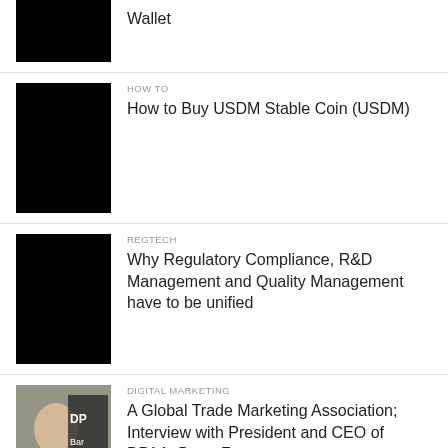[Figure (photo): Black thumbnail image (partial, top of page)]
Wallet
[Figure (photo): Black thumbnail image for USDM Stable Coin article]
HOW TO
How to Buy USDM Stable Coin (USDM)
[Figure (photo): Black thumbnail image for Regulatory Compliance article]
REGTECH
Why Regulatory Compliance, R&D Management and Quality Management have to be unified
[Figure (photo): Photo of Barry Frey with DPAA branding]
DIGITAL MARKETING
A Global Trade Marketing Association; Interview with President and CEO of DPAA, Barry Frey
[Figure (photo): Photo with skit.ai logo]
ARTIFICIAL INTELLIGENCE
The Rise of Voice AI; Interview with